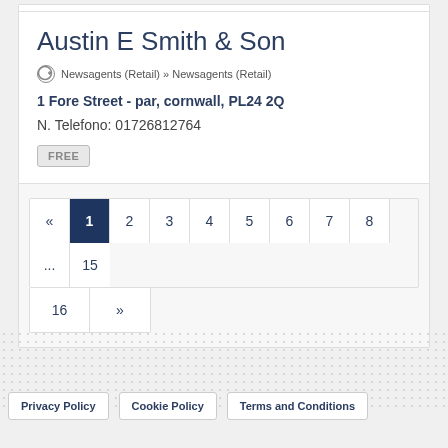Austin E Smith & Son
Newsagents (Retail) » Newsagents (Retail)
1 Fore Street - par, cornwall, PL24 2Q
N. Telefono: 01726812764
FREE
« 1 2 3 4 5 6 7 8 ... 15 16 »
Privacy Policy  Cookie Policy  Terms and Conditions